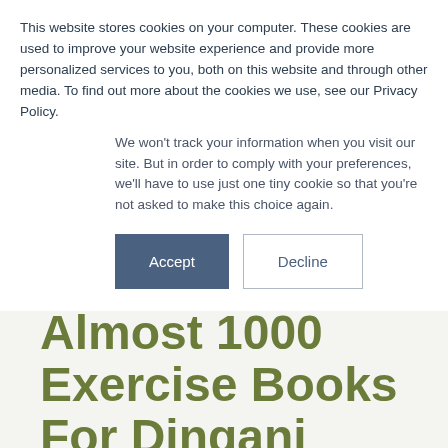This website stores cookies on your computer. These cookies are used to improve your website experience and provide more personalized services to you, both on this website and through other media. To find out more about the cookies we use, see our Privacy Policy.
We won't track your information when you visit our site. But in order to comply with your preferences, we'll have to use just one tiny cookie so that you're not asked to make this choice again.
Accept | Decline (buttons)
Almost 1000 Exercise Books For Dingani Primary School And Valentine's